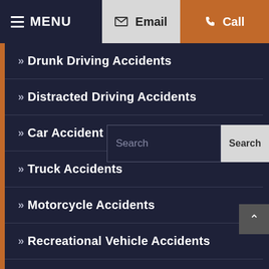MENU | Email | Call
Drunk Driving Accidents
Distracted Driving Accidents
Car Accident FAQ
Truck Accidents
Motorcycle Accidents
Recreational Vehicle Accidents
Nursing Home Abuse And Neglect
Promises Liability